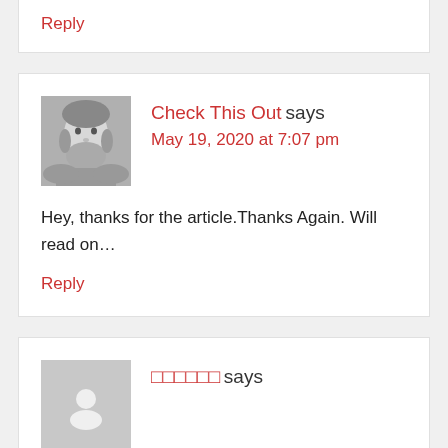Reply
Check This Out says
May 19, 2020 at 7:07 pm
Hey, thanks for the article.Thanks Again. Will read on…
Reply
□□□□□□ says